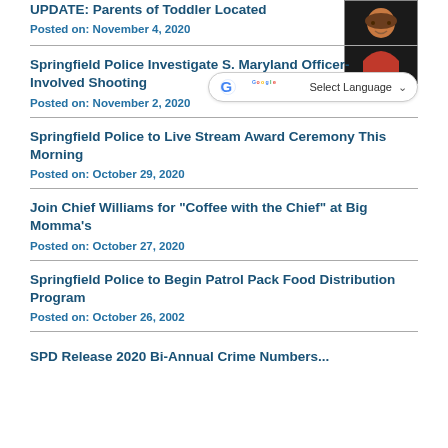UPDATE: Parents of Toddler Located
Posted on: November 4, 2020
[Figure (photo): Photo of a toddler/young child in a red outfit]
Springfield Police Investigate S. Maryland Officer-Involved Shooting
Posted on: November 2, 2020
[Figure (other): Google Translate widget with Select Language dropdown]
Springfield Police to Live Stream Award Ceremony This Morning
Posted on: October 29, 2020
Join Chief Williams for "Coffee with the Chief" at Big Momma's
Posted on: October 27, 2020
Springfield Police to Begin Patrol Pack Food Distribution Program
Posted on: October 26, 2002
SPD Release 2020 Bi-Annual Crime Numbers...